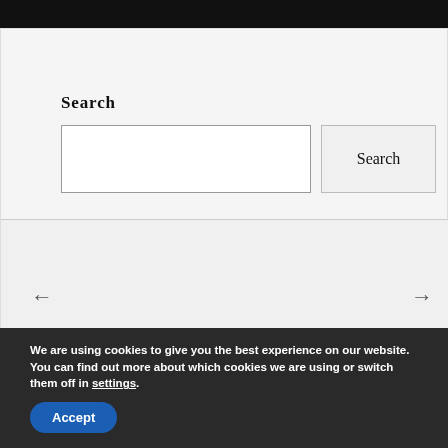Search
[Figure (screenshot): Search input box and Search button on a light gray background]
[Figure (screenshot): Navigation area with left arrow, white inner box, right arrow, and August 2022 date label]
We are using cookies to give you the best experience on our website.
You can find out more about which cookies we are using or switch them off in settings.
Accept